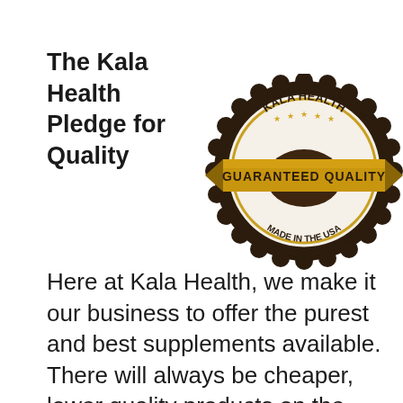The Kala Health Pledge for Quality
[Figure (logo): Kala Health Guaranteed Quality badge — circular seal with scalloped dark border, gold ribbon banner reading 'GUARANTEED QUALITY', text 'KALA HEALTH' at top, 'MADE IN THE USA' at bottom, gold and dark brown color scheme.]
Here at Kala Health, we make it our business to offer the purest and best supplements available. There will always be cheaper, lower quality products on the market, but our customers keep coming back to us because of the high quality we offer. For over twenty years, we have carefully cultivated our reputation for delivering only the highest quality dietary